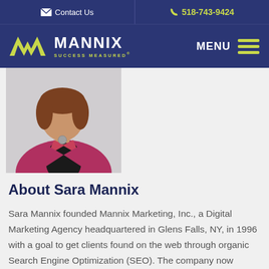Contact Us | 518-743-9424
[Figure (logo): Mannix Marketing logo with green M chevron and tagline SUCCESS MEASURED]
[Figure (photo): Woman in red blazer, professional headshot photo of Sara Mannix]
About Sara Mannix
Sara Mannix founded Mannix Marketing, Inc., a Digital Marketing Agency headquartered in Glens Falls, NY, in 1996 with a goal to get clients found on the web through organic Search Engine Optimization (SEO). The company now serves over 1500 clients worldwide and employs a team of nearly 30 specialists, operating under the tagline